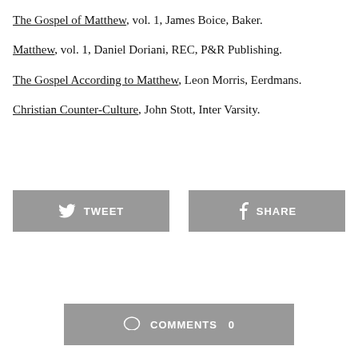The Gospel of Matthew, vol. 1, James Boice, Baker.
Matthew, vol. 1, Daniel Doriani, REC, P&R Publishing.
The Gospel According to Matthew, Leon Morris, Eerdmans.
Christian Counter-Culture, John Stott, Inter Varsity.
[Figure (other): Tweet button (social share button with Twitter bird icon) and Share button (social share button with Facebook f icon), side by side, gray background]
[Figure (other): Comments bar with speech bubble icon, label COMMENTS and count 0, gray background]